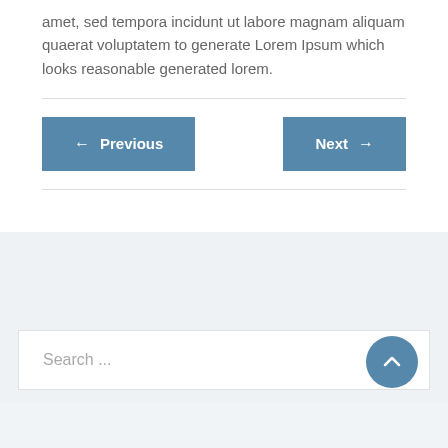amet, sed tempora incidunt ut labore magnam aliquam quaerat voluptatem to generate Lorem Ipsum which looks reasonable generated lorem.
← Previous
Next →
Search ...